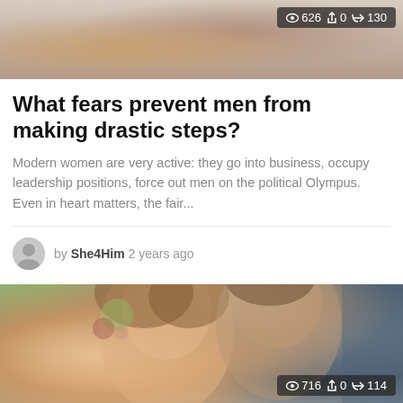[Figure (photo): Top portion of an article card showing a blurred/cropped photo of people, with stats overlay showing 626 views, 0 reposts, 130 shares]
What fears prevent men from making drastic steps?
Modern women are very active: they go into business, occupy leadership positions, force out men on the political Olympus. Even in heart matters, the fair...
by She4Him 2 years ago
[Figure (photo): Photo of a happy couple, woman with floral hair accessory smiling with eyes closed leaning against a smiling bearded man, with stats overlay showing 716 views, 0 reposts, 114 shares]